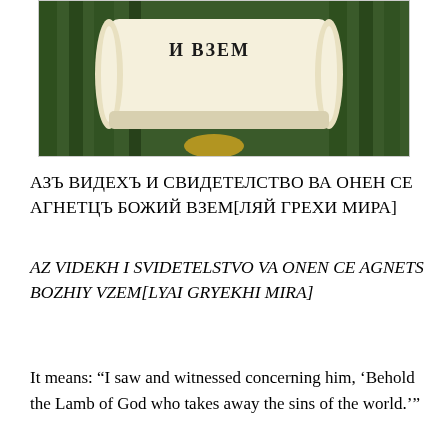[Figure (illustration): Painting of a scroll with Cyrillic text on a dark green background, partially visible at top of page.]
АЗЪ ВИДЕХЪ И СВИДЕТЕЛСТВО ВА ОНЕН СЕ АГНЕТЦЪ БОЖИЙ ВЗЕМ[ЛЯЙ ГРЕХИ МИРА]
AZ VIDEKH I SVIDETELSTVO VA ONEN CE AGNETS BOZHIY VZEM[LYAI GRYEKHI MIRA]
It means: “I saw and witnessed concerning him, ‘Behold the Lamb of God who takes away the sins of the world.’”